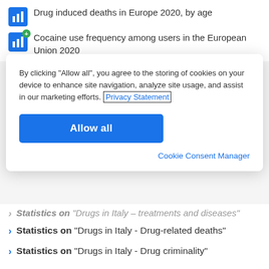Drug induced deaths in Europe 2020, by age
Cocaine use frequency among users in the European Union 2020
By clicking “Allow all”, you agree to the storing of cookies on your device to enhance site navigation, analyze site usage, and assist in our marketing efforts. Privacy Statement
Allow all
Cookie Consent Manager
Statistics on “Drugs in Italy – treatments and diseases”
Statistics on “Drugs in Italy - Drug-related deaths”
Statistics on “Drugs in Italy - Drug criminality”